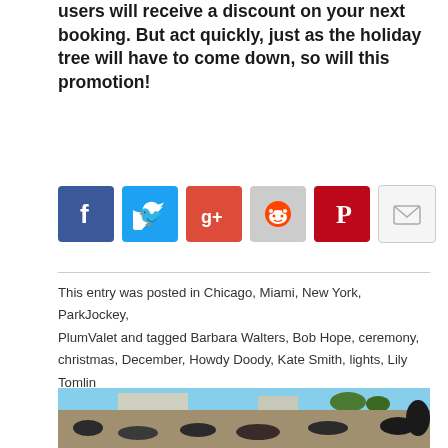users will receive a discount on your next booking. But act quickly, just as the holiday tree will have to come down, so will this promotion!
[Figure (infographic): Social media sharing icons: Facebook (blue), Twitter (light blue), Google+ (red), Reddit (gray), Pinterest (red), Email (light gray)]
This entry was posted in Chicago, Miami, New York, ParkJockey, PlumValet and tagged Barbara Walters, Bob Hope, ceremony, christmas, December, Howdy Doody, Kate Smith, lights, Lily Tomlin, Liza Minnelli, midtown, parking, parkjockey, rockefeller, Time, ParkJockey Team   by   tradition, tree on December 12, 2014.
[Figure (photo): Outdoor crowd scene in a sunny urban area, people lying or sitting on the ground on a busy street, trees and buildings in the background.]